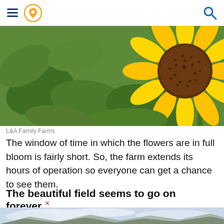Navigation header with menu, location pin, and search icons
[Figure (photo): Close-up photo of a large yellow sunflower with green leaves and stems in the background, sunflower field. Taken at L&A Family Farms.]
L&A Family Farms
The window of time in which the flowers are in full bloom is fairly short. So, the farm extends its hours of operation so everyone can get a chance to see them.
The beautiful field seems to go on forever.
[Figure (photo): Partial view of a wide open field landscape with mountains and cloudy sky in the background.]